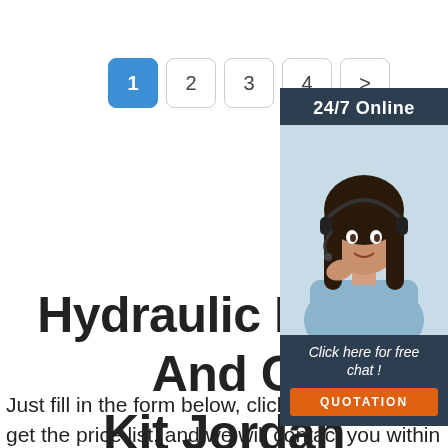[Figure (other): Pagination bar with buttons 1 (active, blue), 2, 3, 4, and >]
[Figure (other): 24/7 Online chat widget sidebar with photo of woman with headset, 'Click here for free chat!' text, and orange QUOTATION button]
Hydraulic Pump And C... Kit Jordan
Just fill in the form below, click submit, you will get the price list, and we will contact you within one working day. Please also feel free to contact us via